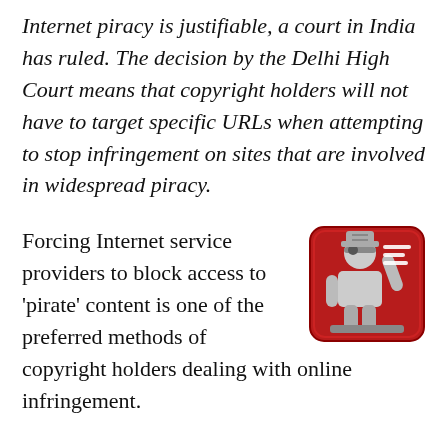Internet piracy is justifiable, a court in India has ruled. The decision by the Delhi High Court means that copyright holders will not have to target specific URLs when attempting to stop infringement on sites that are involved in widespread piracy.
[Figure (illustration): Red square icon with rounded corners depicting a stylized figure of a person wearing a hat and eye-patch (pirate symbol), shown in white and gray tones on a red background.]
Forcing Internet service providers to block access to 'pirate' content is one of the preferred methods of copyright holders dealing with online infringement.
How that should be carried out in practice is a matter for debate. In most cases thus far, sites that carry or index a large proportion of infringing content